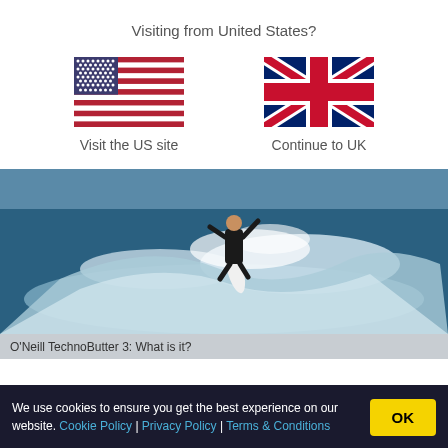Visiting from United States?
[Figure (illustration): US flag icon]
Visit the US site
[Figure (illustration): UK flag icon]
Continue to UK
[Figure (photo): Surfer riding a wave in a black wetsuit on a surfboard, with white spray and ocean waves]
O'Neill TechnoButter 3: What is it?
We use cookies to ensure you get the best experience on our website. Cookie Policy | Privacy Policy | Terms & Conditions